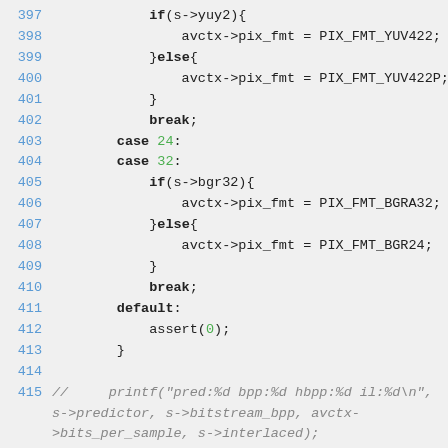[Figure (screenshot): Source code snippet in C showing switch-case block for pixel format assignment, lines 397-419]